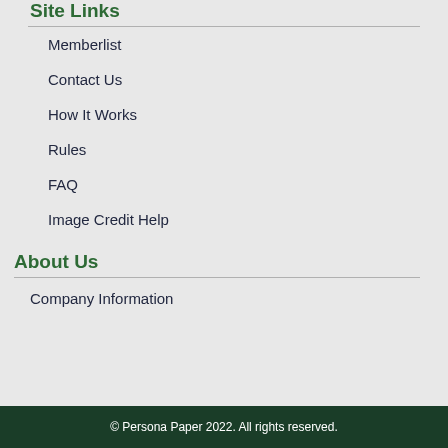Site Links
Memberlist
Contact Us
How It Works
Rules
FAQ
Image Credit Help
About Us
Company Information
© Persona Paper 2022. All rights reserved.